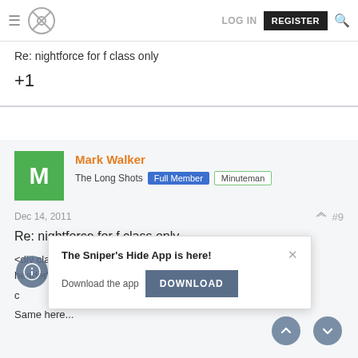LOG IN   REGISTER
Re: nightforce for f class only
+1
Mark Walker
The Long Shots  Full Member  Minuteman
Dec 14, 2011  #9
Re: nightforce for f class only
<div class="ubbcode-block"><div class="ubbcode-header">Originally Posted By: PS.....</div><div c
I never turn r
Same here...
[Figure (screenshot): App promotion overlay: 'The Sniper's Hide App is here!' with a DOWNLOAD button and close X button]